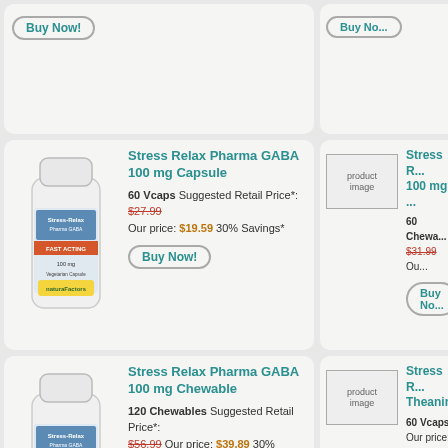[Figure (photo): Buy Now button, top of partial product card left]
[Figure (photo): Buy Now button, top of partial product card right]
Stress Relax Pharma GABA 100 mg Capsule
60 Vcaps Suggested Retail Price*: $27.99 Our price: $19.59 30% Savings*
Buy Now!
Stress R... 100 mg ...
60 Chewa... $31.99 Ou...
Buy No...
Stress Relax Pharma GABA 100 mg Chewable
120 Chewables Suggested Retail Price*: $56.99 Our price: $39.89 30% Savings*
Buy Now!
Stress R... Theanin...
60 Vcaps ... Our price: ...
Buy No...